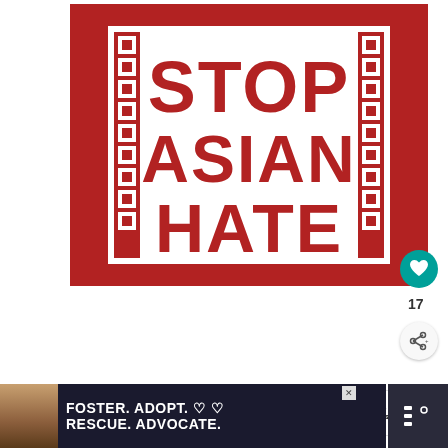[Figure (illustration): Stop Asian Hate campaign logo: bold red background with white inner frame featuring decorative Asian-inspired border pattern on left and right sides. Large red block letters on white background reading STOP ASIAN HATE in three lines.]
17
WHAT'S NEXT → Warmest Places &...
New Orleans, Louisiana
[Figure (illustration): Bottom banner advertisement: dark navy background with dog photo on left, bold white text reading FOSTER. ADOPT. ♡ ♡ RESCUE. ADVOCATE. with a close X button.]